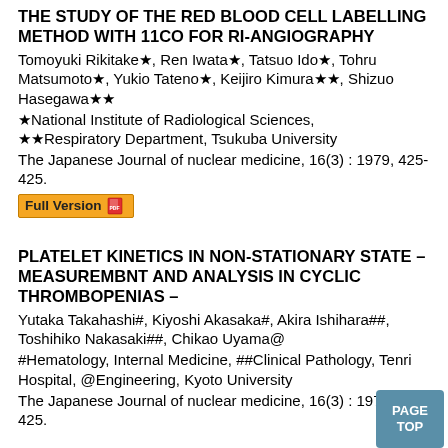THE STUDY OF THE RED BLOOD CELL LABELLING METHOD WITH 11CO FOR RI-ANGIOGRAPHY
Tomoyuki Rikitake★, Ren Iwata★, Tatsuo Ido★, Tohru Matsumoto★, Yukio Tateno★, Keijiro Kimura★★, Shizuo Hasegawa★★
★National Institute of Radiological Sciences, ★★Respiratory Department, Tsukuba University
The Japanese Journal of nuclear medicine, 16(3) : 1979, 425-425.
[Figure (other): Full Version button with PDF icon]
PLATELET KINETICS IN NON-STATIONARY STATE – MEASUREMBNT AND ANALYSIS IN CYCLIC THROMBOPENIAS –
Yutaka Takahashi#, Kiyoshi Akasaka#, Akira Ishihara##, Toshihiko Nakasaki##, Chikao Uyama@
#Hematology, Internal Medicine, ##Clinical Pathology, Tenri Hospital, @Engineering, Kyoto University
The Japanese Journal of nuclear medicine, 16(3) : 1979, 425-425.